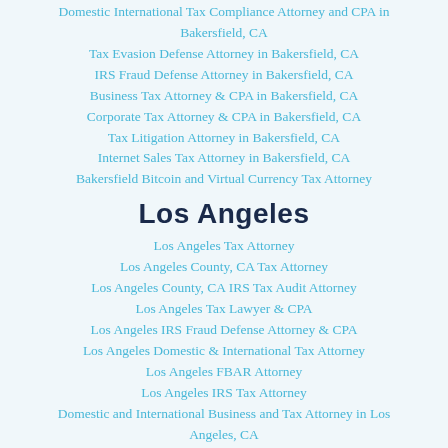Domestic International Tax Compliance Attorney and CPA in Bakersfield, CA
Tax Evasion Defense Attorney in Bakersfield, CA
IRS Fraud Defense Attorney in Bakersfield, CA
Business Tax Attorney & CPA in Bakersfield, CA
Corporate Tax Attorney & CPA in Bakersfield, CA
Tax Litigation Attorney in Bakersfield, CA
Internet Sales Tax Attorney in Bakersfield, CA
Bakersfield Bitcoin and Virtual Currency Tax Attorney
Los Angeles
Los Angeles Tax Attorney
Los Angeles County, CA Tax Attorney
Los Angeles County, CA IRS Tax Audit Attorney
Los Angeles Tax Lawyer & CPA
Los Angeles IRS Fraud Defense Attorney & CPA
Los Angeles Domestic & International Tax Attorney
Los Angeles FBAR Attorney
Los Angeles IRS Tax Attorney
Domestic and International Business and Tax Attorney in Los Angeles, CA
Los Angeles California State Tax Return Audit Attorney + CPA
Los Angeles Internet Sales Tax Attorney + CPA